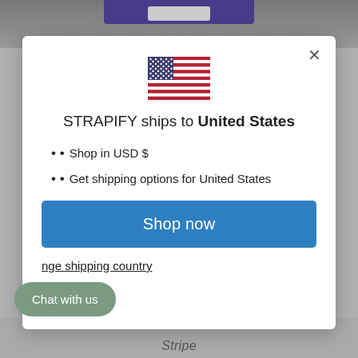[Figure (illustration): US flag emoji/illustration centered in modal]
STRAPIFY ships to United States
Shop in USD $
Get shipping options for United States
Shop now
Change shipping country
Chat with us
Stripe